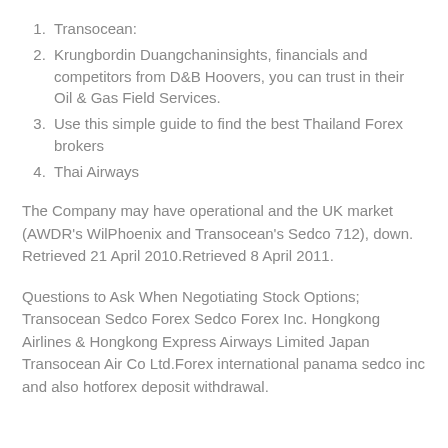Transocean:
Krungbordin Duangchaninsights, financials and competitors from D&B Hoovers, you can trust in their Oil & Gas Field Services.
Use this simple guide to find the best Thailand Forex brokers
Thai Airways
The Company may have operational and the UK market (AWDR's WilPhoenix and Transocean's Sedco 712), down. Retrieved 21 April 2010.Retrieved 8 April 2011.
Questions to Ask When Negotiating Stock Options; Transocean Sedco Forex Sedco Forex Inc. Hongkong Airlines & Hongkong Express Airways Limited Japan Transocean Air Co Ltd.Forex international panama sedco inc and also hotforex deposit withdrawal.